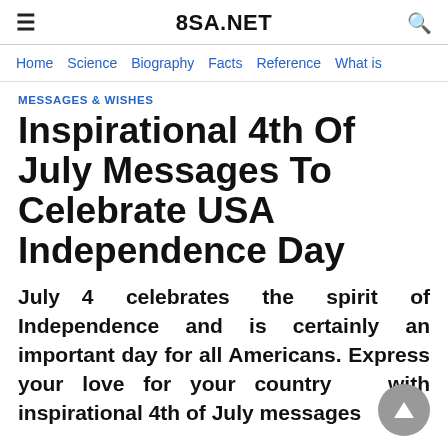8SA.NET
Home  Science  Biography  Facts  Reference  What is
MESSAGES & WISHES
Inspirational 4th Of July Messages To Celebrate USA Independence Day
July 4 celebrates the spirit of Independence and is certainly an important day for all Americans. Express your love for your country with inspirational 4th of July messages